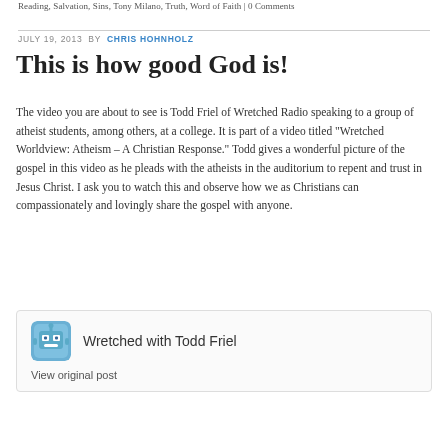Reading, Salvation, Sins, Tony Milano, Truth, Word of Faith | 0 Comments
JULY 19, 2013 BY CHRIS HOHNHOLZ
This is how good God is!
The video you are about to see is Todd Friel of Wretched Radio speaking to a group of atheist students, among others, at a college. It is part of a video titled "Wretched Worldview: Atheism – A Christian Response." Todd gives a wonderful picture of the gospel in this video as he pleads with the atheists in the auditorium to repent and trust in Jesus Christ. I ask you to watch this and observe how we as Christians can compassionately and lovingly share the gospel with anyone.
[Figure (other): Embedded post card with icon for 'Wretched with Todd Friel' and a 'View original post' link]
View original post